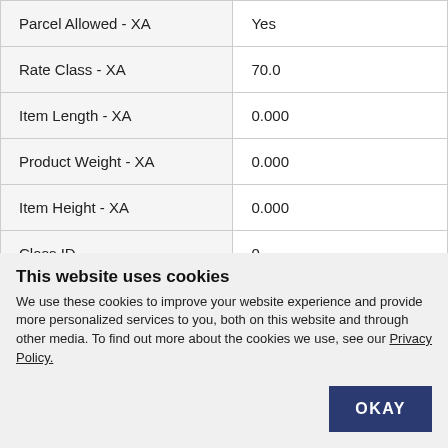| Field | Value |
| --- | --- |
| Parcel Allowed - XA | Yes |
| Rate Class - XA | 70.0 |
| Item Length - XA | 0.000 |
| Product Weight - XA | 0.000 |
| Item Height - XA | 0.000 |
| Class ID | 0 |
| Item Width - XA | 0.000 |
This website uses cookies
We use these cookies to improve your website experience and provide more personalized services to you, both on this website and through other media. To find out more about the cookies we use, see our Privacy Policy.